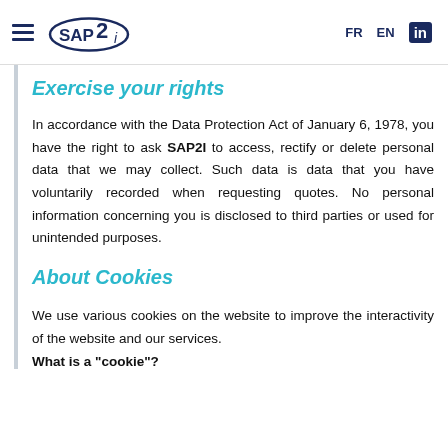SAP2i | FR EN in
Exercise your rights
In accordance with the Data Protection Act of January 6, 1978, you have the right to ask SAP2I to access, rectify or delete personal data that we may collect. Such data is data that you have voluntarily recorded when requesting quotes. No personal information concerning you is disclosed to third parties or used for unintended purposes.
About Cookies
We use various cookies on the website to improve the interactivity of the website and our services.
What is a "cookie"?